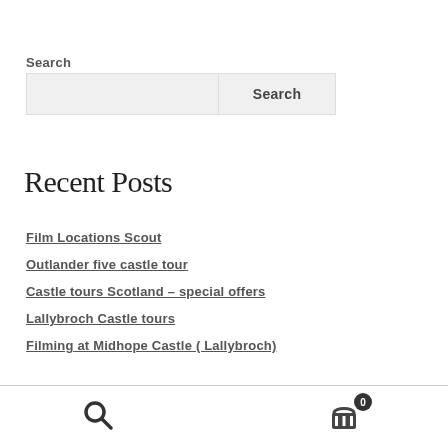Search
[Figure (screenshot): Search input box with a Search button]
Recent Posts
Film Locations Scout
Outlander five castle tour
Castle tours Scotland – special offers
Lallybroch Castle tours
Filming at Midhope Castle ( Lallybroch)
Search icon and cart icon with badge 0